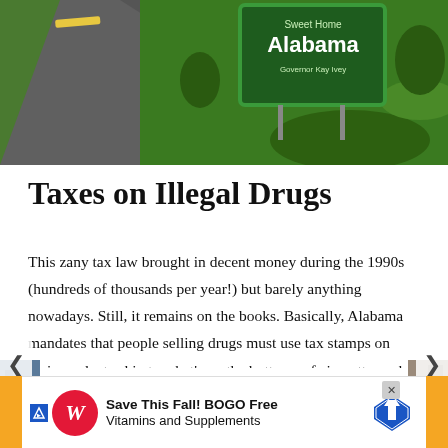[Figure (photo): Aerial or roadside photo of Alabama highway with green 'Sweet Home Alabama' state welcome sign, green grass fields, and road with yellow center line. Governor Kay Ivey listed on sign.]
Taxes on Illegal Drugs
This zany tax law brought in decent money during the 1990s (hundreds of thousands per year!) but barely anything nowadays. Still, it remains on the books. Basically, Alabama mandates that people selling drugs must use tax stamps on their products akin to what's on the bottoms of cigarette packs. If someone's caught with a large amount of drugs and no sta...asion.
[Figure (photo): Partial side photos visible on left and right edges of page, partially obscured by navigation arrows.]
[Figure (screenshot): Advertisement banner for Walgreens: 'Save This Fall! BOGO Free Vitamins and Supplements' with Walgreens logo and a navigation road sign icon.]